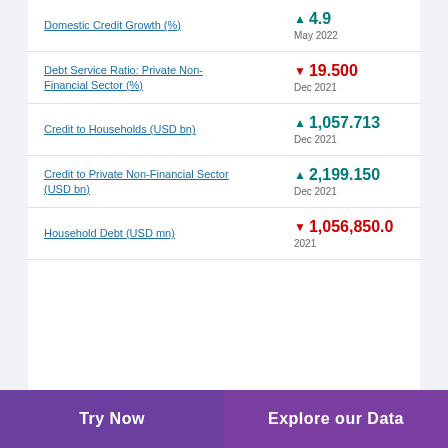Domestic Credit Growth (%)
Debt Service Ratio: Private Non-Financial Sector (%)
Credit to Households (USD bn)
Credit to Private Non-Financial Sector (USD bn)
Household Debt (USD mn)
Try Now | Explore our Data